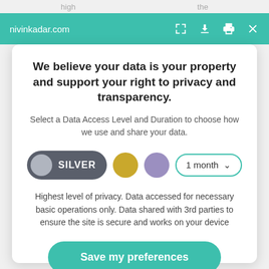nivinkadar.com
We believe your data is your property and support your right to privacy and transparency.
Select a Data Access Level and Duration to choose how we use and share your data.
SILVER | [gold circle] | [purple circle] | 1 month dropdown
Highest level of privacy. Data accessed for necessary basic operations only. Data shared with 3rd parties to ensure the site is secure and works on your device
Save my preferences
Customize   Privacy policy | Do Not Sell